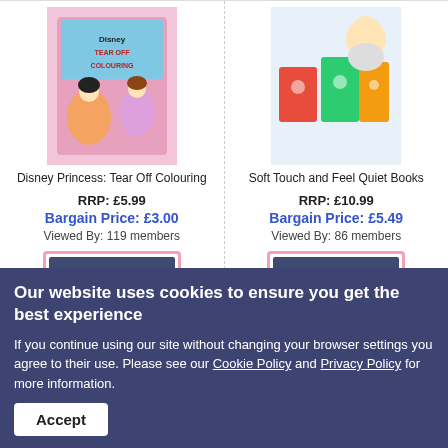[Figure (screenshot): Disney Princess: Tear Off Colouring book cover with Moana and princesses]
Disney Princess: Tear Off Colouring
RRP: £5.99
Bargain Price: £3.00
Viewed By: 119 members
Go To Deal
[Figure (screenshot): Soft Touch and Feel Quiet Books with baby and colorful cloth books]
Soft Touch and Feel Quiet Books
RRP: £10.99
Bargain Price: £5.49
Viewed By: 86 members
Go To Deal
Our website uses cookies to ensure you get the best experience
If you continue using our site without changing your browser settings you agree to their use. Please see our Cookie Policy and Privacy Policy for more information.
Accept